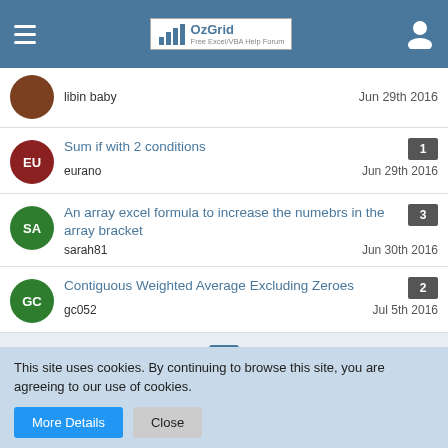OzGrid - Free Excel/VBA Help Forum
libin baby — Jun 29th 2016
Sum if with 2 conditions
eurano — Jun 29th 2016 — replies: 1
An array excel formula to increase the numebrs in the array bracket
sarah81 — Jun 30th 2016 — replies: 3
Contiguous Weighted Average Excluding Zeroes
gc052 — Jul 5th 2016 — replies: 2
Pagination: 1 … 4 5 6 … 75
This site uses cookies. By continuing to browse this site, you are agreeing to our use of cookies.